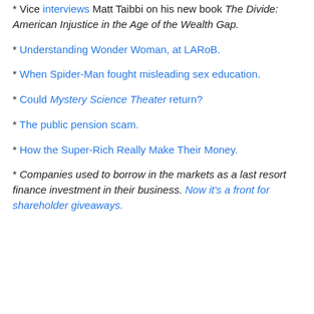* Vice interviews Matt Taibbi on his new book The Divide: American Injustice in the Age of the Wealth Gap.
* Understanding Wonder Woman, at LARoB.
* When Spider-Man fought misleading sex education.
* Could Mystery Science Theater return?
* The public pension scam.
* How the Super-Rich Really Make Their Money.
* Companies used to borrow in the markets as a last resort finance investment in their business. Now it's a front for shareholder giveaways.